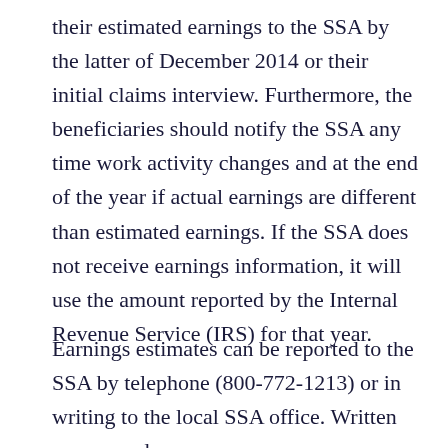their estimated earnings to the SSA by the latter of December 2014 or their initial claims interview. Furthermore, the beneficiaries should notify the SSA any time work activity changes and at the end of the year if actual earnings are different than estimated earnings. If the SSA does not receive earnings information, it will use the amount reported by the Internal Revenue Service (IRS) for that year.
Earnings estimates can be reported to the SSA by telephone (800-772-1213) or in writing to the local SSA office. Written correspondence